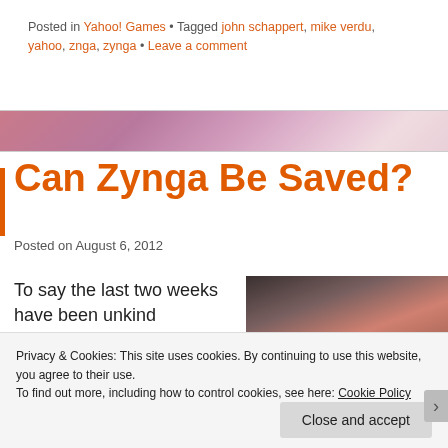Posted in Yahoo! Games • Tagged john schappert, mike verdu, yahoo, znga, zynga • Leave a comment
[Figure (photo): Decorative banner with purple/pink cloud texture]
Can Zynga Be Saved?
Posted on August 6, 2012
To say the last two weeks have been unkind
[Figure (photo): Photo showing a person holding a red toy/figure, grey background]
Privacy & Cookies: This site uses cookies. By continuing to use this website, you agree to their use.
To find out more, including how to control cookies, see here: Cookie Policy
Close and accept